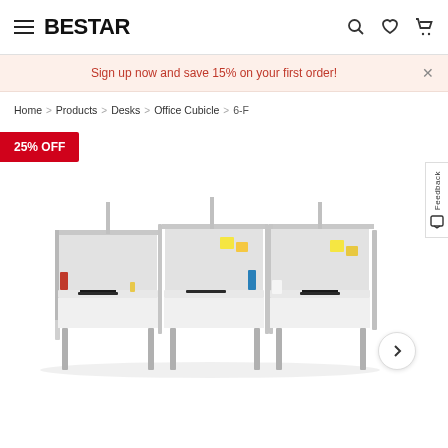BESTAR
Sign up now and save 15% on your first order!
Home > Products > Desks > Office Cubicle > 6-F
25% OFF
[Figure (photo): Three white office cubicle workstations side by side with grey metal legs and privacy panels, each with a laptop and desk accessories]
Feedback